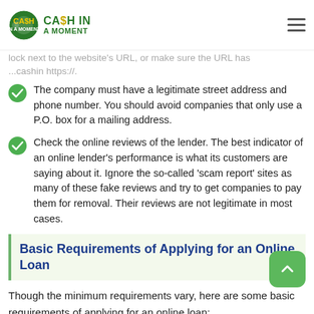Cash In A Moment
lock next to the website's URL, or make sure the URL has...cashin https://.
The company must have a legitimate street address and phone number. You should avoid companies that only use a P.O. box for a mailing address.
Check the online reviews of the lender. The best indicator of an online lender's performance is what its customers are saying about it. Ignore the so-called 'scam report' sites as many of these fake reviews and try to get companies to pay them for removal. Their reviews are not legitimate in most cases.
Basic Requirements of Applying for an Online Loan
Though the minimum requirements vary, here are some basic requirements of applying for an online loan:
Be in your current job for 90 days,